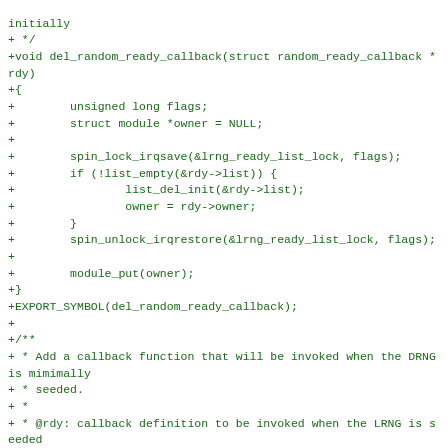initially
+ */
+void del_random_ready_callback(struct random_ready_callback *rdy)
+{
+        unsigned long flags;
+        struct module *owner = NULL;
+
+        spin_lock_irqsave(&lrng_ready_list_lock, flags);
+        if (!list_empty(&rdy->list)) {
+                list_del_init(&rdy->list);
+                owner = rdy->owner;
+        }
+        spin_unlock_irqrestore(&lrng_ready_list_lock, flags);
+
+        module_put(owner);
+}
+EXPORT_SYMBOL(del_random_ready_callback);
+
+/**
+ * Add a callback function that will be invoked when the DRNG is mimimally
+ * seeded.
+ *
+ * @rdy: callback definition to be invoked when the LRNG is seeded
+ * @return: 0 if callback is successfully added
+ *          -EALREADY if pool is already initialised
+ * @[truncated]